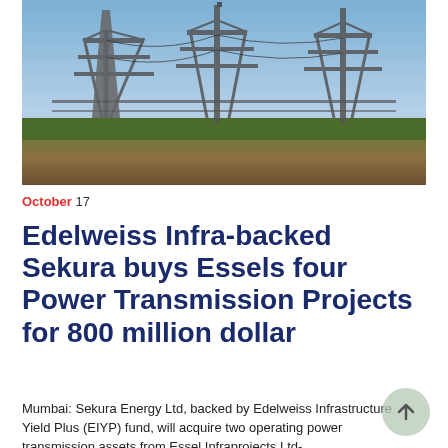[Figure (photo): Electrical power transmission towers and substation infrastructure against a blue sky with green vegetation in the foreground]
October 17
Edelweiss Infra-backed Sekura buys Essels four Power Transmission Projects for 800 million dollar
Mumbai: Sekura Energy Ltd, backed by Edelweiss Infrastructure Yield Plus (EIYP) fund, will acquire two operating power transmission assets from Essel Infraprojects Ltd-